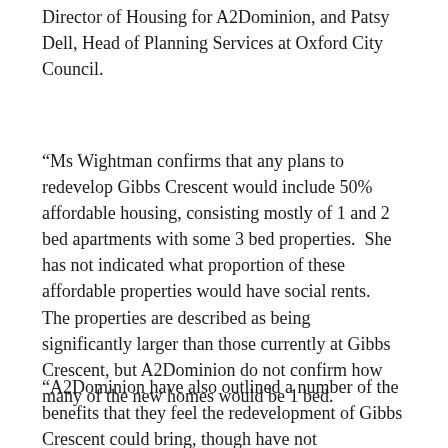Director of Housing for A2Dominion, and Patsy Dell, Head of Planning Services at Oxford City Council.
“Ms Wightman confirms that any plans to redevelop Gibbs Crescent would include 50% affordable housing, consisting mostly of 1 and 2 bed apartments with some 3 bed properties. She has not indicated what proportion of these affordable properties would have social rents. The properties are described as being significantly larger than those currently at Gibbs Crescent, but A2Dominion do not confirm how many of the new homes would be 1 bed.
“A2Dominion have also outlined a number of the benefits that they feel the redevelopment of Gibbs Crescent could bring, though have not